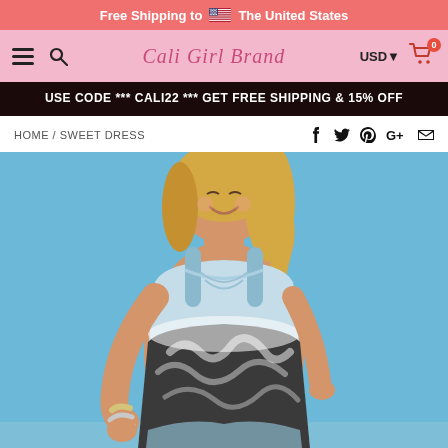Free Shipping to 🇺🇸 The United States
Cali Girl Brand | USD | Cart 0
USE CODE *** CALI22 *** GET FREE SHIPPING & 15% OFF
HOME / SWEET DRESS
[Figure (photo): A woman wearing a tie-dye tank dress with blue straps and a dark grey/charcoal tie-dye pattern, standing outdoors with a blue sky background]
Sweet Dress product photo